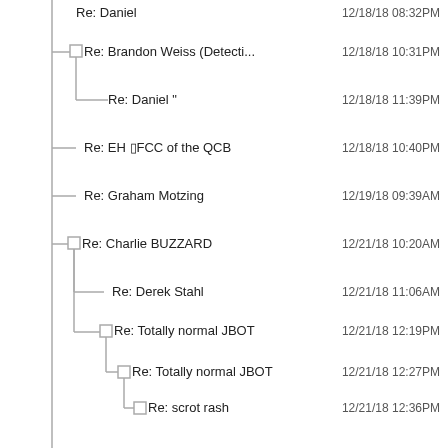Re: Daniel
Re: Brandon Weiss (Detecti...
Re: Daniel "
Re: EH ▯FCC of the QCB
Re: Graham Motzing
Re: Charlie BUZZARD
Re: Derek Stahl
Re: Totally normal JBOT
Re: Totally normal JBOT
Re: scrot rash
Re: EH ▯FCC of the QCB
Re: scrot rash
Re: scrot rash
Re: EH ▯FCC of the QCB